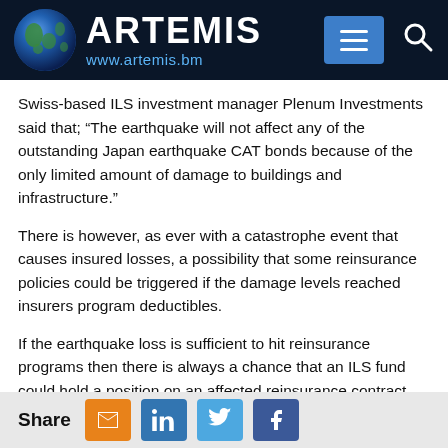ARTEMIS www.artemis.bm
Swiss-based ILS investment manager Plenum Investments said that; “The earthquake will not affect any of the outstanding Japan earthquake CAT bonds because of the only limited amount of damage to buildings and infrastructure.”
There is however, as ever with a catastrophe event that causes insured losses, a possibility that some reinsurance policies could be triggered if the damage levels reached insurers program deductibles.
If the earthquake loss is sufficient to hit reinsurance programs then there is always a chance that an ILS fund could hold a position on an affected reinsurance contract. Also certain reinsurance sidecars, such as Swiss Re’s Sector Re, were understood to contain Japan quake risks. However at the level of damage currently reported any impact from that would be expected to be minimal.
Share